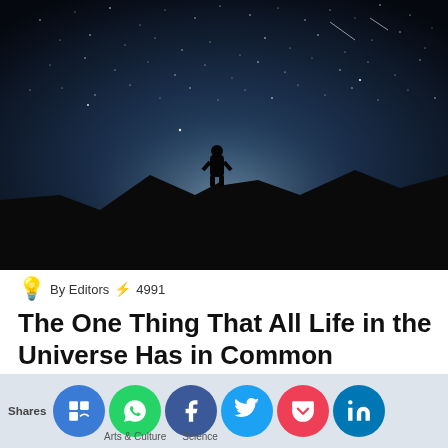[Figure (photo): Night sky photo: silhouette of a person standing on a hill between dark mountains, gazing at a star-filled deep blue sky with faint meteor streaks.]
By Editors ⚡ 4991
The One Thing That All Life in the Universe Has in Common
Shares [social share buttons: site, WhatsApp, Facebook, Twitter, Pocket, LinkedIn]